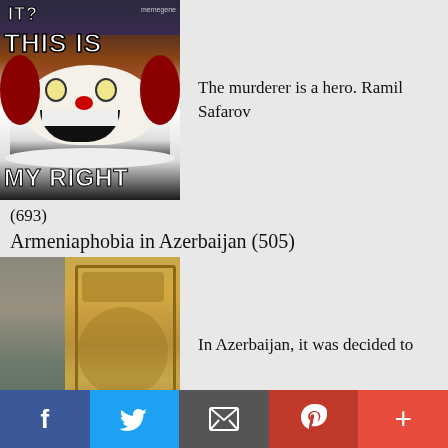[Figure (photo): Meme image of Pennywise the clown with text 'IT? THIS IS MY RIGHT' in white bold Impact font on dark background]
The murderer is a hero. Ramil Safarov
(693)
Armeniaphobia in Azerbaijan (505)
[Figure (photo): Photo of Armenian stone cross-sculpture (khachkar) with ornate carvings next to stone wall ruins under blue sky]
In Azerbaijan, it was decided to
declare Armenian cross-sculptures of the 17-19 centuries as
[Figure (other): Social media share bar with Facebook, Twitter, Email, Pinterest, and More (+) buttons]